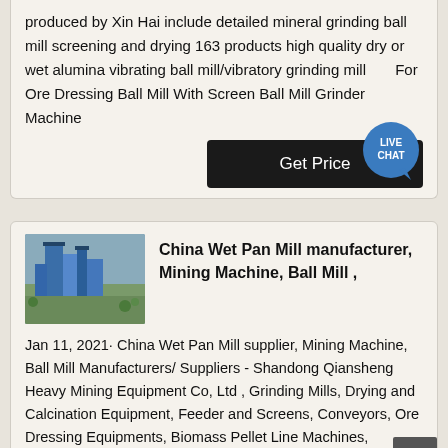produced by Xin Hai include detailed mineral grinding ball mill screening and drying 163 products high quality dry or wet alumina vibrating ball mill/vibratory grinding mill For Ore Dressing Ball Mill With Screen Ball Mill Grinder Machine
[Figure (other): Live Chat speech bubble icon with teal/blue background and white text reading LIVE CHAT]
Get Price
[Figure (photo): Aerial photograph of a large blue industrial mining facility or processing plant]
China Wet Pan Mill manufacturer, Mining Machine, Ball Mill ,
Jan 11, 2021· China Wet Pan Mill supplier, Mining Machine, Ball Mill Manufacturers/ Suppliers - Shandong Qiansheng Heavy Mining Equipment Co, Ltd , Grinding Mills, Drying and Calcination Equipment, Feeder and Screens, Conveyors, Ore Dressing Equipments, Biomass Pellet Line Machines, High Pressure Pressing Machine, Trommel Screen, Rotary